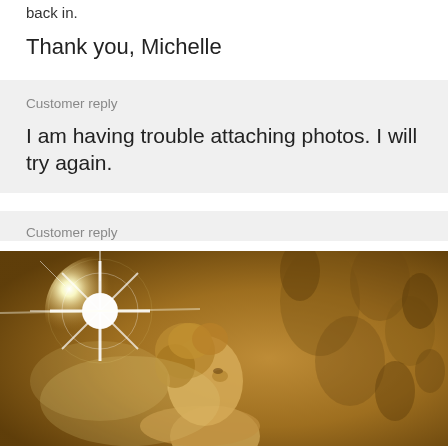back in.
Thank you, Michelle
Customer reply
I am having trouble attaching photos. I will try again.
Customer reply
[Figure (photo): A photo showing a bright lens flare/light burst on the left side, with a classical painting or wallpaper depicting a figure with curly hair in profile on a golden/amber background with floral motifs.]